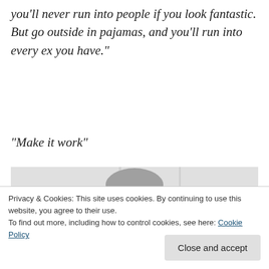you'll never run into people if you look fantastic. But go outside in pajamas, and you'll run into every ex you have.”
“Make it work”
[Figure (photo): Photo of an older man with glasses and grey hair, partially visible from chest up, against a light grey background. Overlaid by a cookie consent banner.]
Privacy & Cookies: This site uses cookies. By continuing to use this website, you agree to their use.
To find out more, including how to control cookies, see here: Cookie Policy
Close and accept